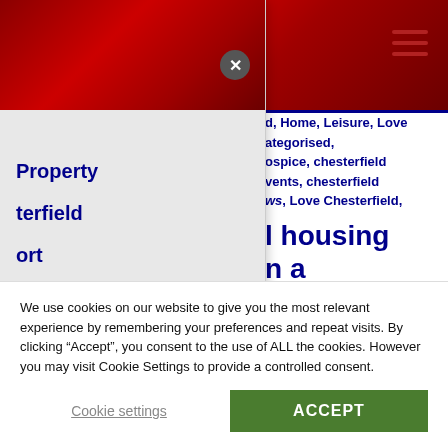[Figure (screenshot): Website header with red gradient background and hamburger menu icon in top right]
d, Home, Leisure, Love
ategorised,
ospice, chesterfield
vents, chesterfield
ws, Love Chesterfield,
l housing
n a
to welcome
Property
terfield
ort
enues
ts
We use cookies on our website to give you the most relevant experience by remembering your preferences and repeat visits. By clicking “Accept”, you consent to the use of ALL the cookies. However you may visit Cookie Settings to provide a controlled consent.
Cookie settings
ACCEPT